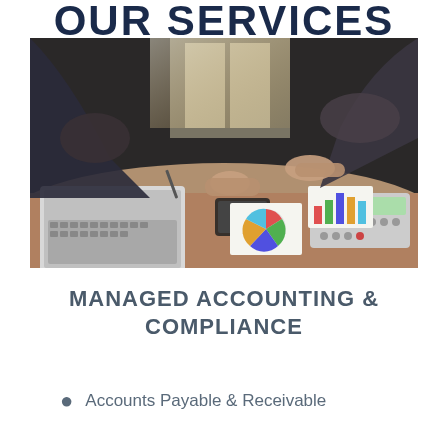OUR SERVICES
[Figure (photo): Business professionals reviewing documents and charts on a tablet at a desk with laptop, calculator, pie chart printouts, and financial documents]
MANAGED ACCOUNTING & COMPLIANCE
Accounts Payable & Receivable